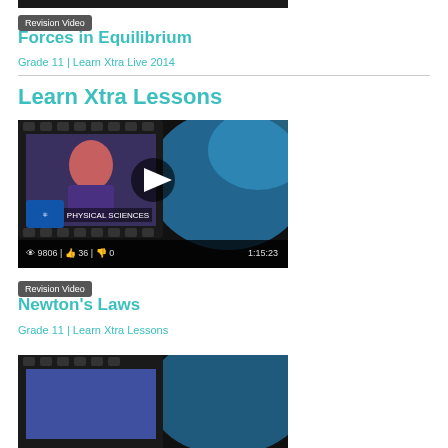[Figure (screenshot): Video thumbnail top-cropped, dark/black strip at top]
Revision Video
Forces in Equilibrium
Grade 11 | Learn Xtra Live 2014
Learn Xtra Lessons
[Figure (screenshot): Video thumbnail showing Physical Sciences lesson with instructor, film strip border, blue splash background. Stats: 9806 views, 36 likes, 0 dislikes, duration 1:15:23]
Revision Video
Newton's Laws
Grade 11 | Learn Xtra Lessons
[Figure (screenshot): Video thumbnail bottom of page, partially visible]